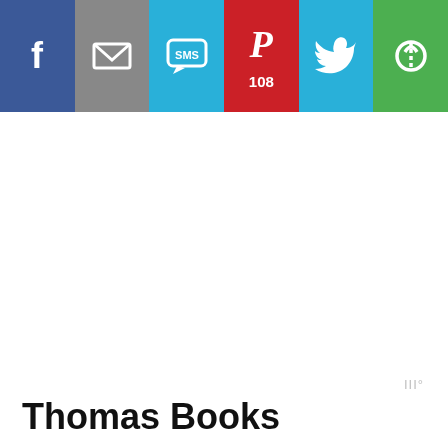[Figure (infographic): Social sharing bar with six buttons: Facebook (blue), Email (gray), SMS (light blue), Pinterest (red, showing count 108), Twitter (light blue), and a green share/reset icon button.]
III°
Thomas Books